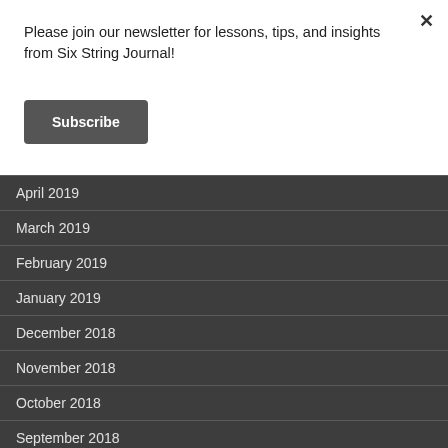Please join our newsletter for lessons, tips, and insights from Six String Journal!
Subscribe
April 2019
March 2019
February 2019
January 2019
December 2018
November 2018
October 2018
September 2018